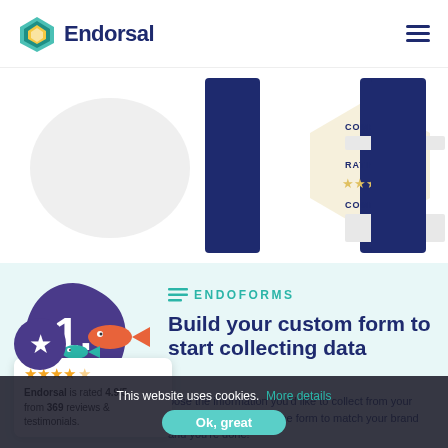Endorsal
[Figure (screenshot): Partial form screenshot with COMPANY, RATING (stars), COMMENTS fields, dark blue rectangles and a beige hexagon shape on white background]
[Figure (illustration): Dark purple hexagon badge with white number 1. inside]
ENDOFORMS
Build your custom form to start collecting data
Choose the information you'd like to collect from your customers, customise the form to match your brand and you're done!
Endorsal is rated 4.9/5 from 369 reviews & testimonials.
This website uses cookies. More details
Ok, great